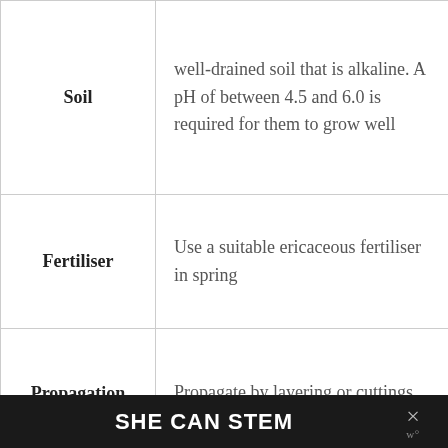| Soil | well-drained soil that is alkaline. A pH of between 4.5 and 6.0 is required for them to grow well |
| Fertiliser | Use a suitable ericaceous fertiliser in spring |
| Propagation | Propagate by layering or cuttings |
| Pests | Spider mites, rhododendron leaf hopper |
SHE CAN STEM